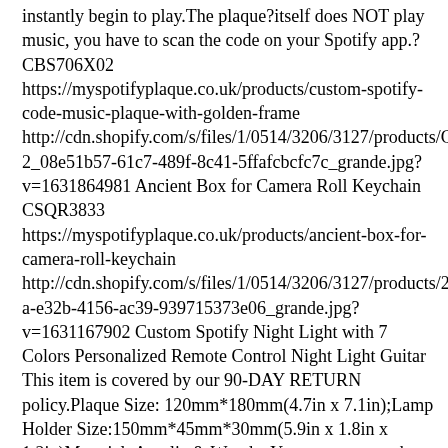instantly begin to play.The plaque?itself does NOT play music, you have to scan the code on your Spotify app.? CBS706X02 https://myspotifyplaque.co.uk/products/custom-spotify-code-music-plaque-with-golden-frame http://cdn.shopify.com/s/files/1/0514/3206/3127/products/CBS706X02_08e51b57-61c7-489f-8c41-5ffafcbcfc7c_grande.jpg?v=1631864981 Ancient Box for Camera Roll Keychain CSQR3833 https://myspotifyplaque.co.uk/products/ancient-box-for-camera-roll-keychain http://cdn.shopify.com/s/files/1/0514/3206/3127/products/2b38cd36a-e32b-4156-ac39-939715373e06_grande.jpg?v=1631167902 Custom Spotify Night Light with 7 Colors Personalized Remote Control Night Light Guitar This item is covered by our 90-DAY RETURN policy.Plaque Size: 120mm*180mm(4.7in x 7.1in);Lamp Holder Size:150mm*45mm*30mm(5.9in x 1.8in x 1.2in)Material: Acrylic &amp; WoodenYou can engrave the Spotify code of your favorite song on the acrylic music plaque so that you can scan the Spotify Code to listen to your favorite song anytime, anywhere.You can also fill in the name of the song and the name of the artist. And It is the best decoration in your room during the day, and will gently accompany you to sleep at night.It will be a perfect gift for your friends and lovers.Please note that these plaques are made with a clear acrylic sheet that ensures safety during transit and is much more durable than glass, they are NOT made from glass.The plaque itself does NOT play music, you